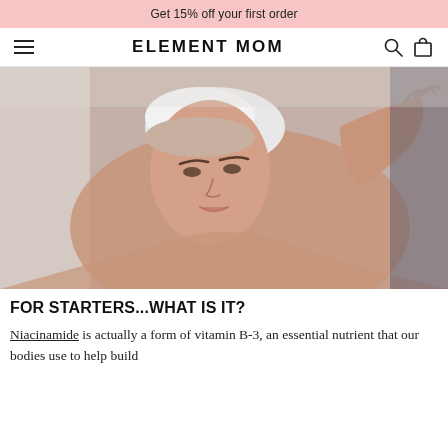Get 15% off your first order
ELEMENT MOM
[Figure (photo): A woman with a white towel on her head leaning toward a mirror, applying skincare product with her fingers, looking at her skin closely, bathroom setting.]
FOR STARTERS...WHAT IS IT?
Niacinamide is actually a form of vitamin B-3, an essential nutrient that our bodies use to help build